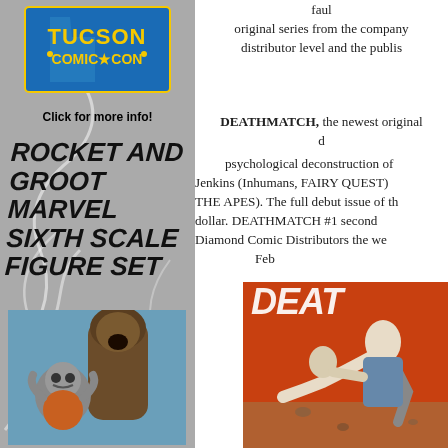[Figure (logo): Tucson Comic Con logo with Arizona state shape in blue and yellow text]
Click for more info!
ROCKET AND GROOT MARVEL SIXTH SCALE FIGURE SET
[Figure (photo): Rocket Raccoon and Groot figures/characters photo]
faul original series from the company distributor level and the publis
DEATHMATCH,  the newest original d psychological deconstruction of Jenkins (Inhumans, FAIRY QUEST) THE APES). The full debut issue of th dollar. DEATHMATCH #1 second Diamond Comic Distributors the we Feb
[Figure (illustration): DEATHMATCH comic book cover showing superhero characters in action]